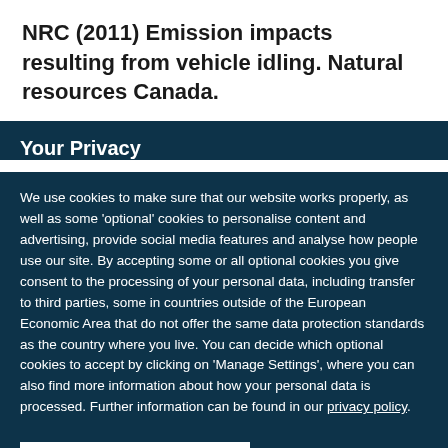NRC (2011) Emission impacts resulting from vehicle idling. Natural resources Canada.
Your Privacy
We use cookies to make sure that our website works properly, as well as some 'optional' cookies to personalise content and advertising, provide social media features and analyse how people use our site. By accepting some or all optional cookies you give consent to the processing of your personal data, including transfer to third parties, some in countries outside of the European Economic Area that do not offer the same data protection standards as the country where you live. You can decide which optional cookies to accept by clicking on 'Manage Settings', where you can also find more information about how your personal data is processed. Further information can be found in our privacy policy.
Accept all cookies
Manage preferences